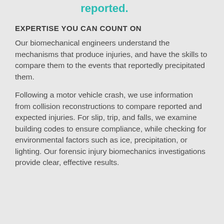reported.
EXPERTISE YOU CAN COUNT ON
Our biomechanical engineers understand the mechanisms that produce injuries, and have the skills to compare them to the events that reportedly precipitated them.
Following a motor vehicle crash, we use information from collision reconstructions to compare reported and expected injuries. For slip, trip, and falls, we examine building codes to ensure compliance, while checking for environmental factors such as ice, precipitation, or lighting. Our forensic injury biomechanics investigations provide clear, effective results.